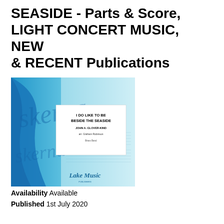SEASIDE - Parts & Score, LIGHT CONCERT MUSIC, NEW & RECENT Publications
[Figure (illustration): Book cover for 'I Do Like To Be Beside The Seaside' by John A. Glover-Kind, arr. Graham Robinson, Brass Band. Published by Lake Music. Cover shows blue wave/seaside design with cursive 'skerna' watermark text and a white label box with title details.]
Availability Available
Published 1st July 2020